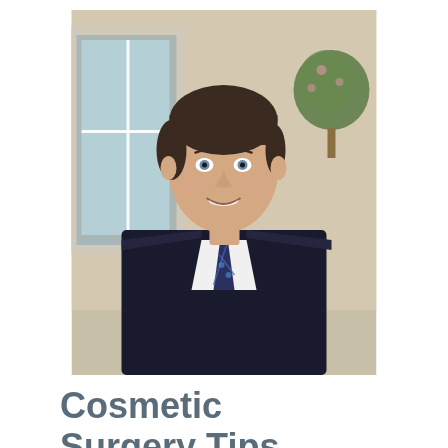[Figure (photo): Professional headshot of a male doctor or surgeon wearing a dark navy suit jacket, white dress shirt, and a blue plaid/diamond-pattern tie. He has short dark hair, is smiling, and is photographed against a soft interior background with a window and topiary plant visible.]
Cosmetic Surgery Tips